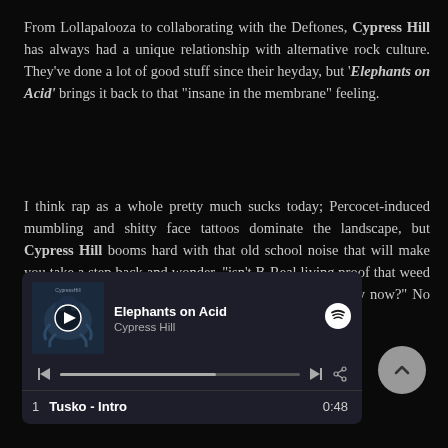From Lollapalooza to collaborating with the Deftones, Cypress Hill has always had a unique relationship with alternative rock culture. They've done a lot of good stuff since their heyday, but 'Elephants on Acid' brings it back to that "insane in the membrane" feeling.
I think rap as a whole pretty much sucks today; Percocet-induced mumbling and shitty face tattoos dominate the landscape, but Cypress Hill booms hard with that old school noise that will make you take a step back and wonder, "isn't B-Real living proof that weed isn't bad for you? Like wouldn't he definitely be dead by now?" No riffs, but so relevant.
[Figure (screenshot): Spotify music player widget showing 'Elephants on Acid' by Cypress Hill. Includes album art, play button, Spotify logo, progress bar with skip controls, and tracklist showing '1 Tusko - Intro 0:48'.]